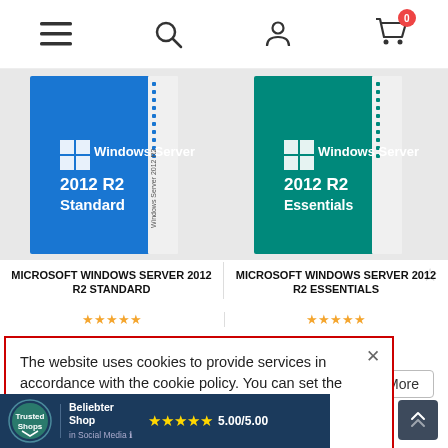[Figure (screenshot): Website navigation bar with hamburger menu, search icon, user icon, and shopping cart icon with badge showing 0]
[Figure (photo): Microsoft Windows Server 2012 R2 Standard software box (blue)]
MICROSOFT WINDOWS SERVER 2012 R2 STANDARD
[Figure (photo): Microsoft Windows Server 2012 R2 Essentials software box (teal/green)]
MICROSOFT WINDOWS SERVER 2012 R2 ESSENTIALS
The website uses cookies to provide services in accordance with the cookie policy. You can set the storage conditions or access to cookies in your browser.

Read more...
[Figure (logo): Beliebter Shop in Social Media badge with Trusted Shops logo and 5.00/5.00 star rating]